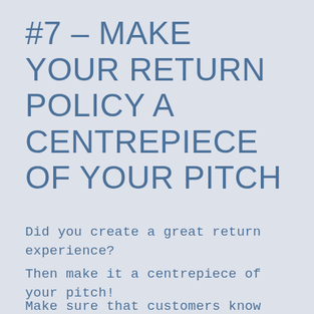#7 - MAKE YOUR RETURN POLICY A CENTREPIECE OF YOUR PITCH
Did you create a great return experience?
Then make it a centrepiece of your pitch!
Make sure that customers know about your